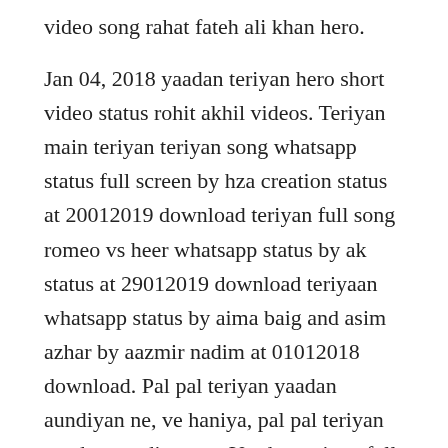video song rahat fateh ali khan hero.
Jan 04, 2018 yaadan teriyan hero short video status rohit akhil videos. Teriyan main teriyan teriyan song whatsapp status full screen by hza creation status at 20012019 download teriyan full song romeo vs heer whatsapp status by ak status at 29012019 download teriyaan whatsapp status by aima baig and asim azhar by aazmir nadim at 01012018 download. Pal pal teriyan yaadan aundiyan ne, ve haniya, pal pal teriyan yaadan aundiyan ne. Yaadan teriyan full hd song rahat fateh ali